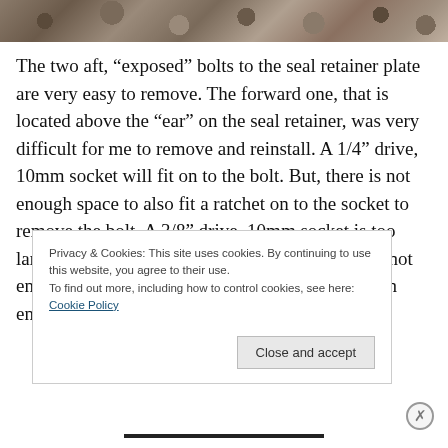[Figure (photo): Close-up photo of mechanical parts, bolts or chain links, metallic components in grey/brown tones]
The two aft, “exposed” bolts to the seal retainer plate are very easy to remove. The forward one, that is located above the “ear” on the seal retainer, was very difficult for me to remove and reinstall. A 1/4” drive, 10mm socket will fit on to the bolt. But, there is not enough space to also fit a ratchet on to the socket to remove the bolt. A 3/8” drive, 10mm socket is too large of a diameter, plus there is still the issue of not enough space for a ratchet. I could slide the “open end” of a mechanic’s wrench on to the bolt, but I
Privacy & Cookies: This site uses cookies. By continuing to use this website, you agree to their use.
To find out more, including how to control cookies, see here: Cookie Policy